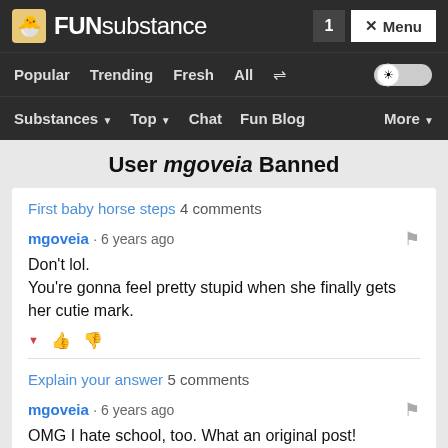FUNsubstance — 1 — Menu
Popular  Trending  Fresh  All  [shuffle]  [toggle]
Substances ▼  Top ▼  Chat  Fun Blog  More ▼
User mgoveia Banned
First baby horse steps 4 comments
mgoveia · 6 years ago
Don't lol.
You're gonna feel pretty stupid when she finally gets her cutie mark.
Explain your answer 5 comments
mgoveia · 6 years ago
OMG I hate school, too. What an original post!
Watch This Guitarist Play An Amazing Cover Of "Happy" 6